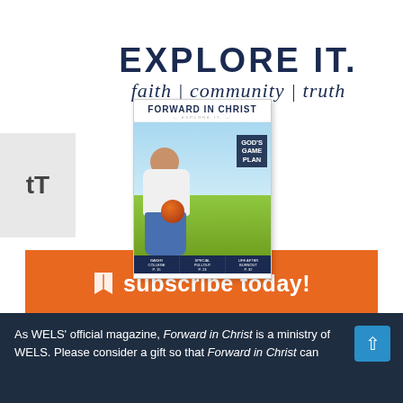EXPLORE IT. faith | community | truth
[Figure (illustration): Forward in Christ magazine cover showing a man with a basketball, with text GOD'S GAME PLAN, and a subscribe today button with orange background]
As WELS' official magazine, Forward in Christ is a ministry of WELS. Please consider a gift so that Forward in Christ can